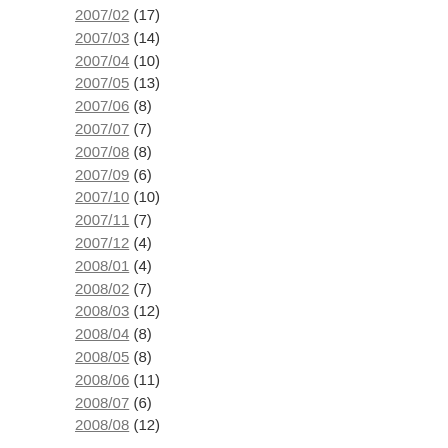2007/02 (17)
2007/03 (14)
2007/04 (10)
2007/05 (13)
2007/06 (8)
2007/07 (7)
2007/08 (8)
2007/09 (6)
2007/10 (10)
2007/11 (7)
2007/12 (4)
2008/01 (4)
2008/02 (7)
2008/03 (12)
2008/04 (8)
2008/05 (8)
2008/06 (11)
2008/07 (6)
2008/08 (12)